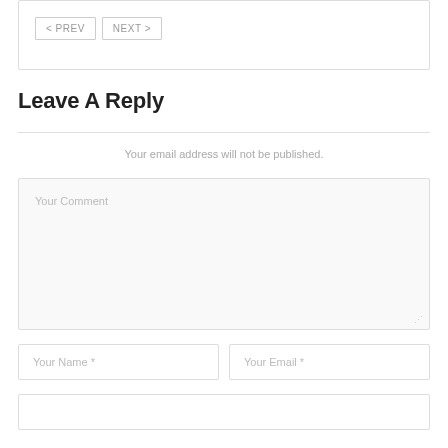< PREV  NEXT >
Leave A Reply
Your email address will not be published.
Your Comment
Your Name *
Your Email *